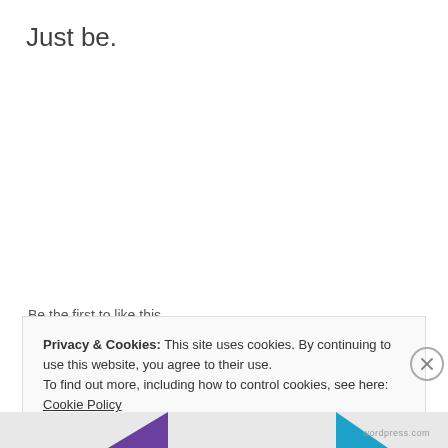Just be.
★ Like
Be the first to like this.
Privacy & Cookies: This site uses cookies. By continuing to use this website, you agree to their use.
To find out more, including how to control cookies, see here: Cookie Policy
Close and accept